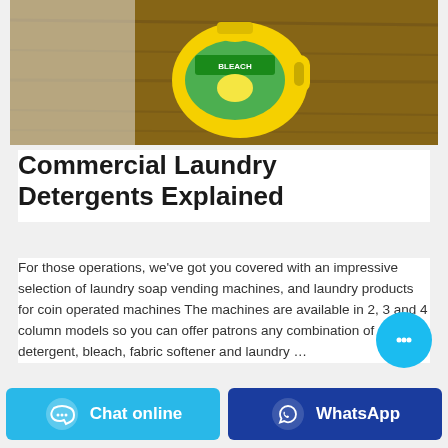[Figure (photo): Yellow laundry bleach bottle lying on a wooden surface]
Commercial Laundry Detergents Explained
For those operations, we've got you covered with an impressive selection of laundry soap vending machines, and laundry products for coin operated machines The machines are available in 2, 3 and 4 column models so you can offer patrons any combination of detergent, bleach, fabric softener and laundry …